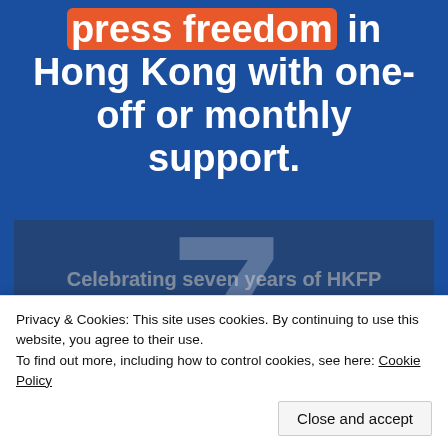press freedom in Hong Kong with one-off or monthly support.
Celebrating seven years of HKFP
Non-profit | Impartial | 100% independent
[Figure (photo): Decorative large number 7 graphic over a blue background with microphone photo below]
Privacy & Cookies: This site uses cookies. By continuing to use this website, you agree to their use.
To find out more, including how to control cookies, see here: Cookie Policy
Close and accept